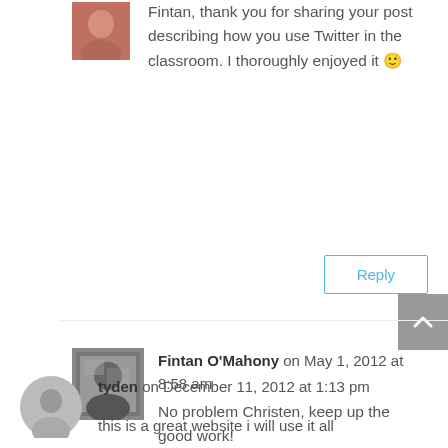Fintan, thank you for sharing your post describing how you use Twitter in the classroom. I thoroughly enjoyed it 🙂
Reply
Fintan O'Mahony on May 1, 2012 at 8:58 am
No problem Christen, keep up the good work!
Reply
tyden on December 11, 2012 at 1:13 pm
this is a great website i will use it all